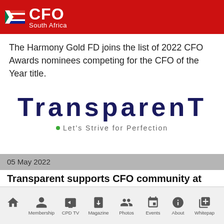CFO South Africa
The Harmony Gold FD joins the list of 2022 CFO Awards nominees competing for the CFO of the Year title.
[Figure (logo): TransparenT logo with tagline 'Let's Strive for Perfection']
05 May 2022
Transparent supports CFO community at annual CFO Day and CFO Awards
Home | Membership | CPD TV | Magazine | Photos | Events | About | Whitepap...